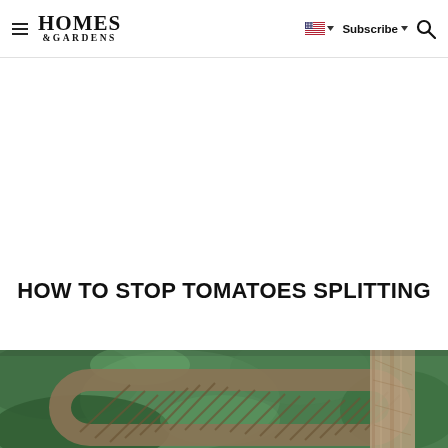Homes & Gardens — Subscribe
HOW TO STOP TOMATOES SPLITTING
[Figure (photo): Close-up photo of a wicker basket handle and a wooden stake in a tomato garden with green foliage in the background]